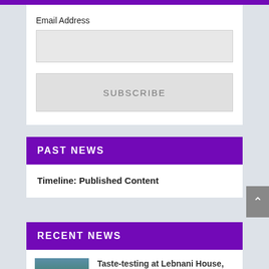Email Address
SUBSCRIBE
PAST NEWS
Timeline: Published Content
RECENT NEWS
Taste-testing at Lebnani House, Milwaukee's new Middle Eastern restaurant